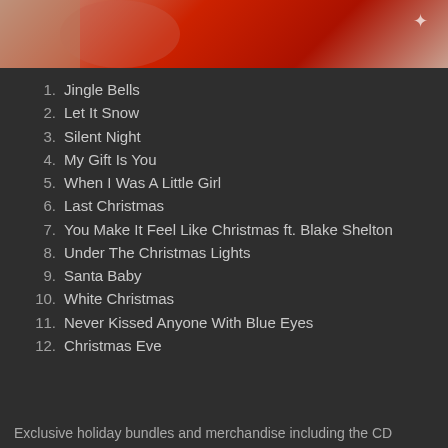[Figure (photo): Partial photo of a woman in a red dress, cropped at top of page]
1.  Jingle Bells
2.  Let It Snow
3.  Silent Night
4.  My Gift Is You
5.  When I Was A Little Girl
6.  Last Christmas
7.  You Make It Feel Like Christmas ft. Blake Shelton
8.  Under The Christmas Lights
9.  Santa Baby
10.  White Christmas
11.  Never Kissed Anyone With Blue Eyes
12.  Christmas Eve
Exclusive holiday bundles and merchandise including the CD